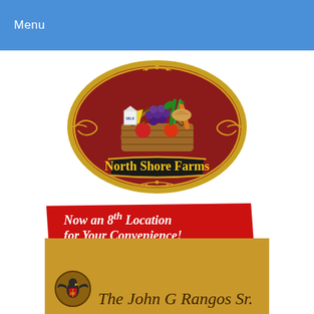Menu
[Figure (logo): North Shore Farms logo: oval emblem with dark red background and gold border containing an illustrated basket of groceries (fruits, vegetables, milk, bread, cheese), with 'North Shore Farms' on a black banner with yellow text below the basket, and decorative flourishes.]
Now an 8th Location for Your Convenience!
Whitestone, Queens!!!
[Figure (logo): The John G Rangos Sr. logo on a golden/tan background, with an eagle emblem on the left and cursive script text reading 'The John G Rangos Sr.' on the right.]